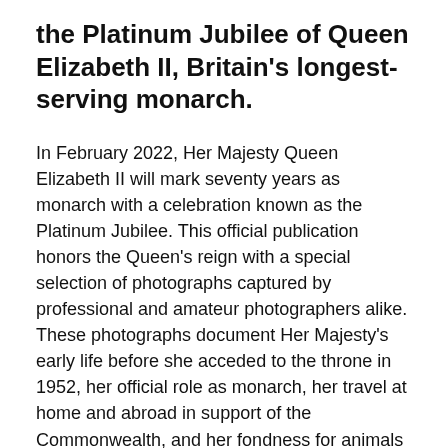the Platinum Jubilee of Queen Elizabeth II, Britain's longest-serving monarch.
In February 2022, Her Majesty Queen Elizabeth II will mark seventy years as monarch with a celebration known as the Platinum Jubilee. This official publication honors the Queen's reign with a special selection of photographs captured by professional and amateur photographers alike. These photographs document Her Majesty's early life before she acceded to the throne in 1952, her official role as monarch, her travel at home and abroad in support of the Commonwealth, and her fondness for animals and family life. These pictures also demonstrate the Queen's continued efforts to give thanks to those who have served the monarchy and their communities, from official